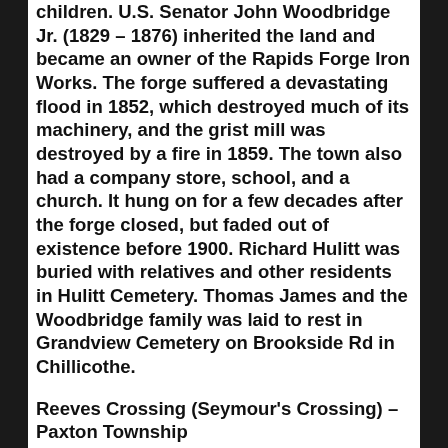children. U.S. Senator John Woodbridge Jr. (1829 – 1876) inherited the land and became an owner of the Rapids Forge Iron Works. The forge suffered a devastating flood in 1852, which destroyed much of its machinery, and the grist mill was destroyed by a fire in 1859. The town also had a company store, school, and a church. It hung on for a few decades after the forge closed, but faded out of existence before 1900. Richard Hulitt was buried with relatives and other residents in Hulitt Cemetery. Thomas James and the Woodbridge family was laid to rest in Grandview Cemetery on Brookside Rd in Chillicothe.
Reeves Crossing (Seymour's Crossing) – Paxton Township
Location: 39.238535, -83.232759
on US 50 along Paint Creek between Lovers Ln (Township Hwy 30) and Dill Rd
Remnants: none known
Description: Revolutionary War